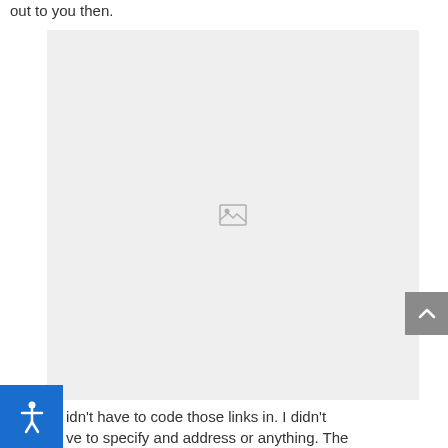out to you then.
[Figure (photo): Broken/missing image placeholder with gray background and centered image icon]
idn't have to code those links in. I didn't ve to specify and address or anything. The